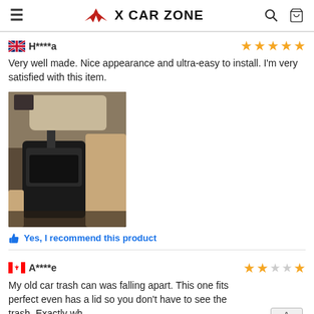X CAR ZONE
H****a — 5 stars
Very well made. Nice appearance and ultra-easy to install. I'm very satisfied with this item.
[Figure (photo): Photo of a car interior showing a black car seat organizer/trash can installed between seats.]
Yes, I recommend this product
A****e — 2 stars
My old car trash can was falling apart. This one fits perfect even has a lid so you don't have to see the trash. Exactly wh looking for!